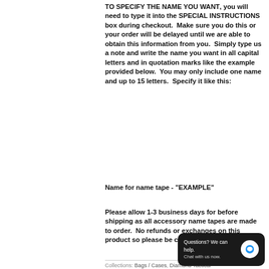TO SPECIFY THE NAME YOU WANT, you will need to type it into the SPECIAL INSTRUCTIONS box during checkout.  Make sure you do this or your order will be delayed until we are able to obtain this information from you.  Simply type us a note and write the name you want in all capital letters and in quotation marks like the example provided below.  You may only include one name and up to 15 letters.  Specify it like this:
Name for name tape - "EXAMPLE"
Please allow 1-3 business days for before shipping as all accessory name tapes are made to order.  No refunds or exchanges on this product so please be careful when ordering.
[Figure (other): Chat widget overlay with dark background showing 'Questions? We can help. Chat with us now.' and a blue chat icon bubble.]
Collections: Bags / Cases, Diamond Tactical